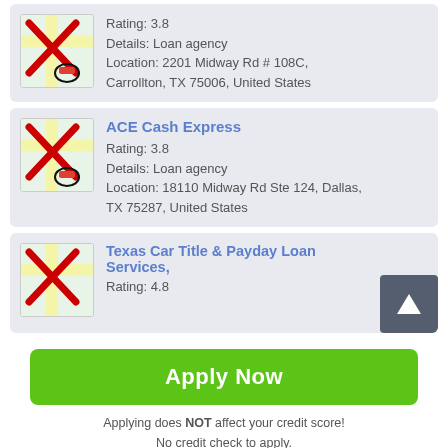[Figure (screenshot): Partial listing card at top showing map icon with red X, Rating: 3.8 (partial), Details: Loan agency, Location: 2201 Midway Rd # 108C, Carrollton, TX 75006, United States]
Rating: 3.8
Details: Loan agency
Location: 2201 Midway Rd # 108C, Carrollton, TX 75006, United States
ACE Cash Express
Rating: 3.8
Details: Loan agency
Location: 18110 Midway Rd Ste 124, Dallas, TX 75287, United States
Texas Car Title & Payday Loan Services,
Rating: 4.8
Apply Now
Applying does NOT affect your credit score!
No credit check to apply.